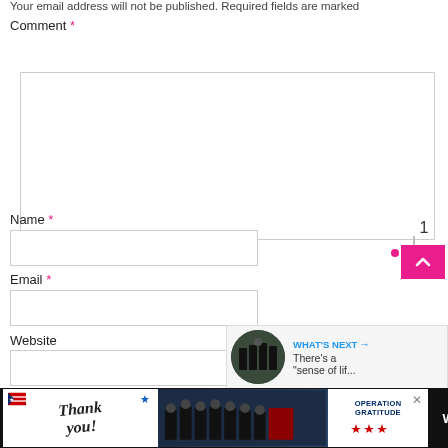Your email address will not be published. Required fields are marked
Comment *
Name *
Email *
Website
Post Comment
[Figure (screenshot): Blue circular heart/like button with white heart icon, showing count of 1, with pink dot and magenta up-arrow button]
[Figure (screenshot): What's Next panel with thumbnail image and text: There's a sense of lif...]
[Figure (screenshot): Advertisement bar with Thank you text, firefighters photo, Operation Gratitude logo, and Wm logo on dark background]